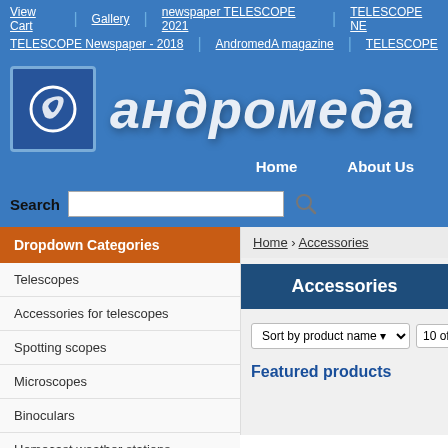View Cart | Gallery | newspaper TELESCOPE 2021 | TELESCOPE NE...
TELESCOPE Newspaper - 2018 | AndromedA magazine | TELESCOPE
[Figure (logo): Andromeda logo: blue square with white swirl icon, followed by italic white Cyrillic text 'андромеда' on blue background]
Home   About Us
Search
Dropdown Categories
Telescopes
Accessories for telescopes
Spotting scopes
Microscopes
Binoculars
Homecast weather stations
Home › Accessories
Accessories
Sort by product name ▾   10 of...
Featured products